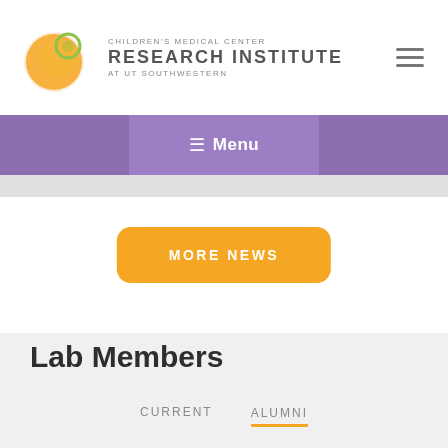[Figure (logo): Children's Medical Center Research Institute at UT Southwestern logo — orange dotted sphere graphic with a small green circle, next to stacked text: CHILDREN'S MEDICAL CENTER / RESEARCH INSTITUTE / AT UT SOUTHWESTERN]
≡ Menu
MORE NEWS
Lab Members
CURRENT   ALUMNI